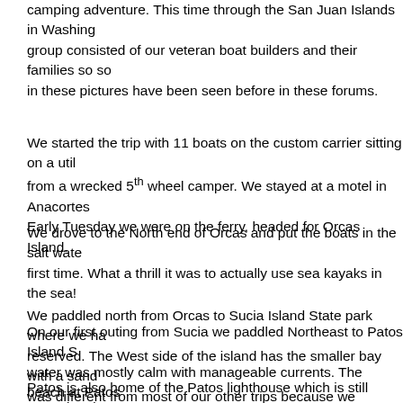camping adventure. This time through the San Juan Islands in Washington. Our group consisted of our veteran boat builders and their families so some of the people in these pictures have been seen before in these forums.
We started the trip with 11 boats on the custom carrier sitting on a utility trailer from a wrecked 5th wheel camper. We stayed at a motel in Anacortes Monday night. Early Tuesday we were on the ferry, headed for Orcas Island.
We drove to the North end of Orcas and put the boats in the salt water for the first time. What a thrill it was to actually use sea kayaks in the sea!
We paddled north from Orcas to Sucia Island State park where we had campsites reserved. The West side of the island has the smaller bay with a sandy beach. This was different from most of our other trips because we established a base camp at Sucia for several days and paddled our much lightened kayaks on our outings.
On our first outing from Sucia we paddled Northeast to Patos Island State park. The water was mostly calm with manageable currents. The beach at Patos is an amazing spot that looks out on the shipping lanes. The cargo boats that travel by are HUGE!
Patos is also home of the Patos lighthouse which is still operational. We were given a tour by the volunteer caretakers who eagerly shared their vast know